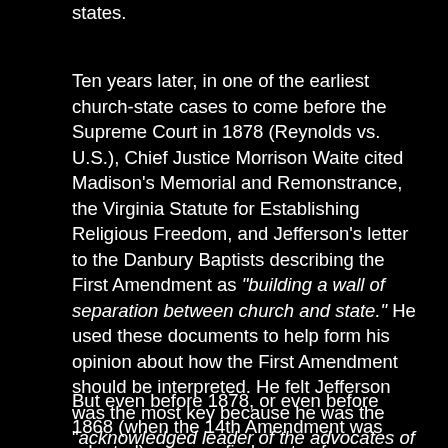states.
Ten years later, in one of the earliest church-state cases to come before the Supreme Court in 1878 (Reynolds vs. U.S.), Chief Justice Morrison Waite cited Madison’s Memorial and Remonstrance, the Virginia Statute for Establishing Religious Freedom, and Jefferson’s letter to the Danbury Baptists describing the First Amendment as “building a wall of separation between church and state.” He used these documents to help form his opinion about how the First Amendment should be interpreted. He felt Jefferson was the most key because he was the “acknowledged leader of the advocates of the measure” and it therefore “may be accepted almost as an authoritative declaration of the scope and effect of the amendment thus secured.”
But even before 1878, or even before 1868 (when the 14th Amendment was adopted), you can find quotes from presidents and representatives who